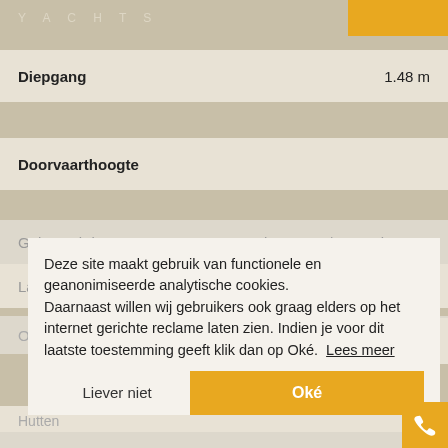YACHTS
| Diepgang | 1.48 m |
| Doorvaarthoogte |  |
| Gebouwd door | Riva s.p.a. / Ferretti Group |
| Land | Italy |
| Ontwerp |  |
| Hutten |  |
| Slaapplaatsen | 4 |
Deze site maakt gebruik van functionele en geanonimiseerde analytische cookies. Daarnaast willen wij gebruikers ook graag elders op het internet gerichte reclame laten zien. Indien je voor dit laatste toestemming geeft klik dan op Oké.  Lees meer